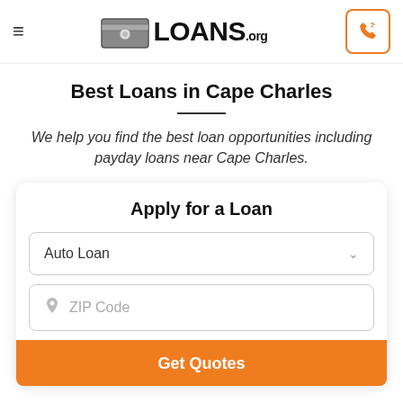[Figure (logo): Loans.org logo with hamburger menu on left and phone icon button on right]
Best Loans in Cape Charles
We help you find the best loan opportunities including payday loans near Cape Charles.
Apply for a Loan
Auto Loan
ZIP Code
Get Quotes